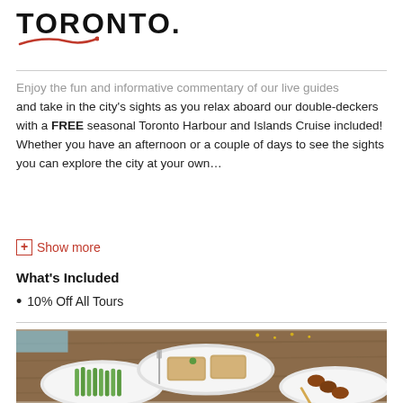TORONTO.
Enjoy the fun and informative commentary of our live guides and take in the city's sights as you relax aboard our double-deckers with a FREE seasonal Toronto Harbour and Islands Cruise included! Whether you have an afternoon or a couple of days to see the sights you can explore the city at your own...
+ Show more
What's Included
10% Off All Tours
[Figure (photo): Overhead shot of food dishes on a wooden table including asparagus, terrine with bread, and skewered meats on white plates]